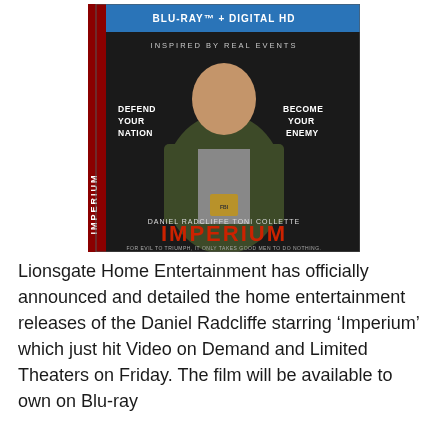[Figure (photo): Blu-ray + Digital HD cover for the movie 'Imperium' starring Daniel Radcliffe and Toni Collette. The cover shows a young man in a bomber jacket with an FBI badge. Text on the cover reads: 'BLU-RAY + DIGITAL HD', 'INSPIRED BY REAL EVENTS', 'DEFEND YOUR NATION', 'BECOME YOUR ENEMY', 'DANIEL RADCLIFFE  TONI COLLETTE', 'IMPERIUM', 'FOR EVIL TO TRIUMPH, IT ONLY TAKES GOOD MEN TO DO NOTHING.']
Lionsgate Home Entertainment has officially announced and detailed the home entertainment releases of the Daniel Radcliffe starring ‘Imperium’ which just hit Video on Demand and Limited Theaters on Friday. The film will be available to own on Blu-ray